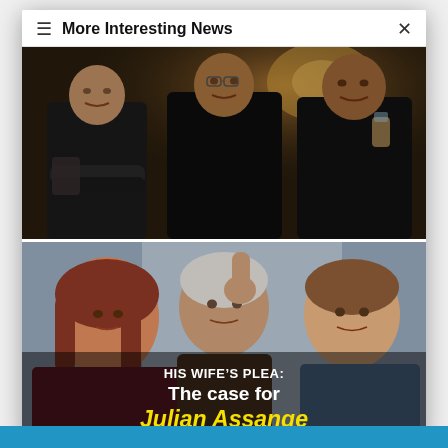More Interesting News
[Figure (photo): Dark indoor photo of three men standing together, the leftmost with arms crossed and tattoos, the middle in a dark sweater, the rightmost in a black jacket holding a drink.]
[Figure (photo): News thumbnail showing three people: a young woman on the left with reddish-brown hair, a silver-haired man in the center raising his fist, and a younger man on the right in a blue shirt. Overlaid text reads HIS WIFE'S PLEA: The case for Julian Assange.]
HIS WIFE'S PLEA: The case for Julian Assange